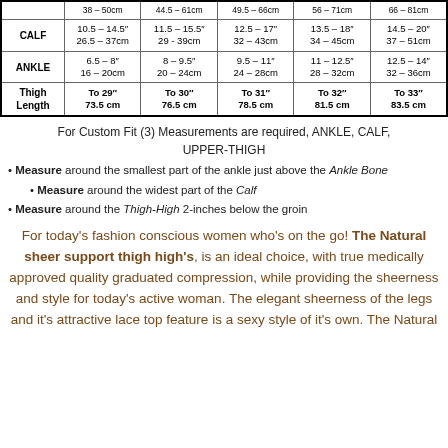|  | S | M | L | XL | XXL |
| --- | --- | --- | --- | --- | --- |
|  | 38–50cm | 44.5–61cm | 49.5–66cm | 56–71cm | 66–81cm |
| CALF | 10.5–14.5"
26.5–37cm | 11.5–15.5"
29–39cm | 12.5–17"
32–43cm | 13.5–18"
34–45cm | 14.5–20"
37–51cm |
| ANKLE | 6.5–8"
16–20cm | 8–9.5"
20–24cm | 9.5–11"
24–28cm | 11–12.5"
28–32cm | 12.5–14"
32–36cm |
| Thigh Length | To 29"
73.5 cm | To 30"
76.5 cm | To 31"
78.5 cm | To 32"
81.5 cm | To 33"
83.5 cm |
For Custom Fit (3) Measurements are required, ANKLE, CALF, UPPER-THIGH
Measure around the smallest part of the ankle just above the Ankle Bone
Measure around the widest part of the Calf
Measure around the Thigh-High 2-inches below the groin
For today's fashion conscious women who's on the go! The Natural sheer support thigh high's, is an ideal choice, with true medically approved quality graduated compression, while providing the sheerness and style for today's active woman. The elegant sheerness of the legs and it's attractive lace top feature is a sexy style of it's own. The Natural